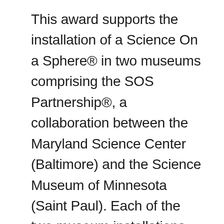This award supports the installation of a Science On a Sphere® in two museums comprising the SOS Partnership®, a collaboration between the Maryland Science Center (Baltimore) and the Science Museum of Minnesota (Saint Paul). Each of the two museum installations will take advantage of the wide variety of NOAA data sets that Science On a Sphere® (SOS) projects onto a six-foot sphere, creating unique, animated, whole-planet views of real-time, past and forecasted, weather, climate and geophysical processes, and many other dramatic visualizations of the